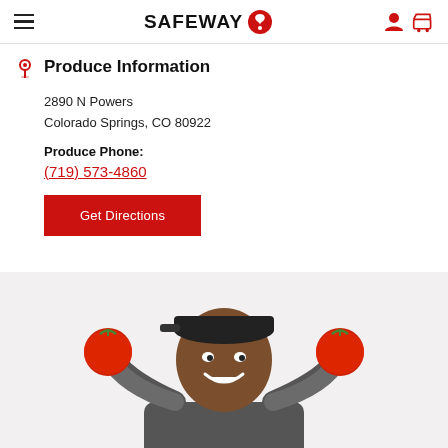SAFEWAY
Produce Information
2890 N Powers
Colorado Springs, CO 80922
Produce Phone:
(719) 573-4860
Get Directions
[Figure (photo): A smiling man holding two red tomatoes up to the sides of his head like ears, wearing a dark gray shirt, on a white/light gray background.]